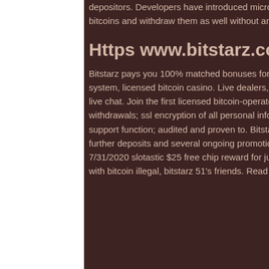depositors. Developers have introduced micro wallets which offer you to store your bitcoins and withdraw them as well without any charges.
Https www.bitstarz.com ru
Bitstarz pays you 100% matched bonuses for your first four deposits. Huge vip reward system, licensed bitcoin casino. Live dealers, instant deposits and withdrawals, 24/7 live chat. Join the first licensed bitcoin-operated online. Bitcoin-friendly deposits and withdrawals; ssl encryption of all personal information; 24-hour access to live chat support function; audited and proven to. Bitstarz also offers even more bonuses on further deposits and several ongoing promotions. Check the website for full details. 7/31/2020 slotastic $25 free chip reward for july 2020 depositors! Is online gambling with bitcoin illegal, bitstarz 51's friends. Read news related to bitstarz casino